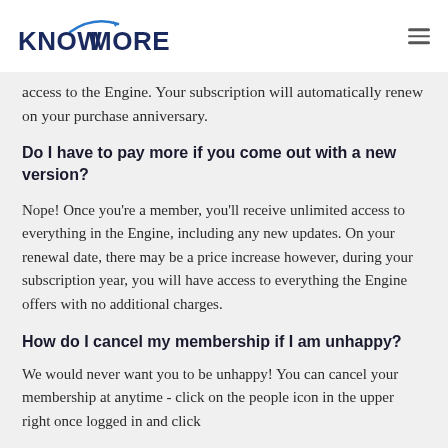KNOWMORE
access to the Engine. Your subscription will automatically renew on your purchase anniversary.
Do I have to pay more if you come out with a new version?
Nope! Once you’re a member, you’ll receive unlimited access to everything in the Engine, including any new updates. On your renewal date, there may be a price increase however, during your subscription year, you will have access to everything the Engine offers with no additional charges.
How do I cancel my membership if I am unhappy?
We would never want you to be unhappy! You can cancel your membership at anytime - click on the people icon in the upper right once logged in and click the Manage Subscription link. Or you can email...